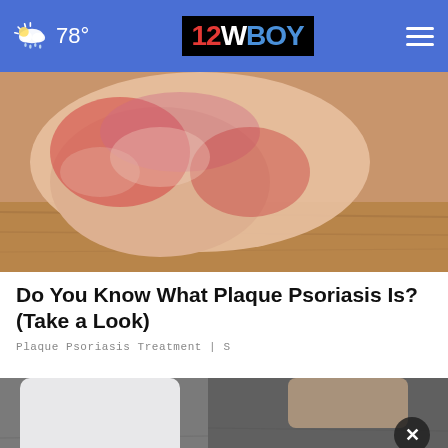78° | 12WBOY
[Figure (photo): Close-up photo of a foot/heel showing red and inflamed skin consistent with plaque psoriasis, on a wooden floor background]
Do You Know What Plaque Psoriasis Is? (Take a Look)
Plaque Psoriasis Treatment | S
[Figure (photo): Photo of white jeans with cuffed ankles and white perforated sneakers with brown stripe detail, on a grey pavement background, with a close button (X) overlay]